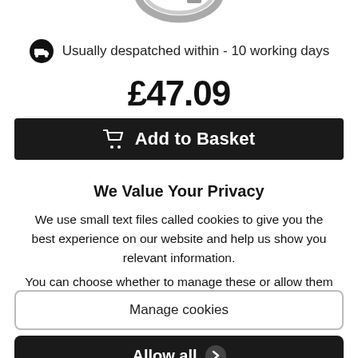[Figure (photo): Partial product photo of a silver metal ring/hose clamp visible at the top of the page]
Usually despatched within - 10 working days
£47.09
Add to Basket
We Value Your Privacy
We use small text files called cookies to give you the best experience on our website and help us show you relevant information.
You can choose whether to manage these or allow them all.
View Cookie Policy.
Manage cookies
Allow all